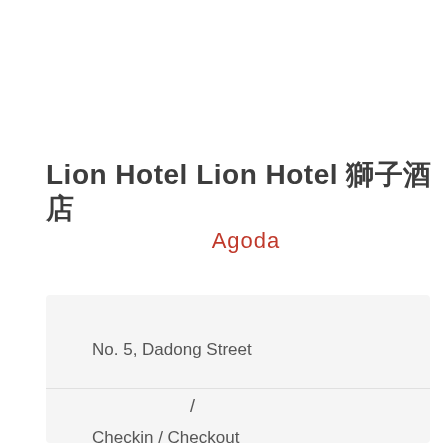Lion Hotel Lion Hotel 獅子酒店
Agoda
No. 5, Dadong Street
/
Checkin / Checkout